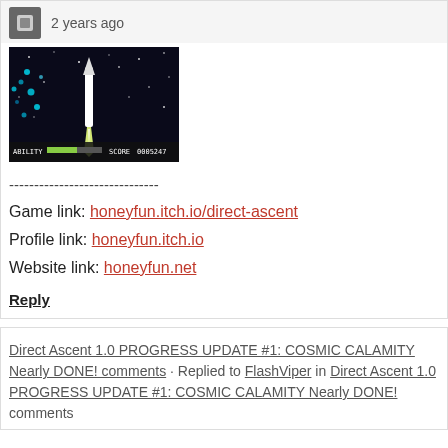2 years ago
[Figure (screenshot): Screenshot of a space shooter game with a rocket firing upward, blue particles, star field background, showing ABILITY and SCORE 0005247 at bottom]
------------------------------
Game link: honeyfun.itch.io/direct-ascent
Profile link: honeyfun.itch.io
Website link: honeyfun.net
Reply
Direct Ascent 1.0 PROGRESS UPDATE #1: COSMIC CALAMITY Nearly DONE! comments · Replied to FlashViper in Direct Ascent 1.0 PROGRESS UPDATE #1: COSMIC CALAMITY Nearly DONE! comments